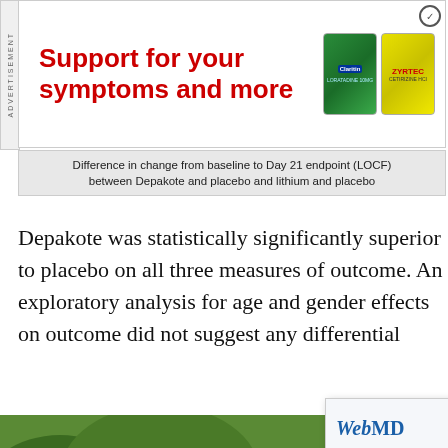[Figure (other): Advertisement banner: 'Support for your symptoms and more' in bold red text, with Claritin and Zyrtec product boxes on the right. ADVERTISEMENT label on left side.]
Difference in change from baseline to Day 21 endpoint (LOCF) between Depakote and placebo and lithium and placebo
Depakote was statistically significantly superior to placebo on all three measures of outcome. An exploratory analysis for age and gender effects on outcome did not suggest any differential
[Figure (photo): Photo of bare feet walking on a slackline/rope outdoors with green foliage background]
[Figure (other): WebMD popup dialog with logo, close button (×), question text 'Are you planning to talk to your', a blue button area, and 'Clicking y... page h...' text]